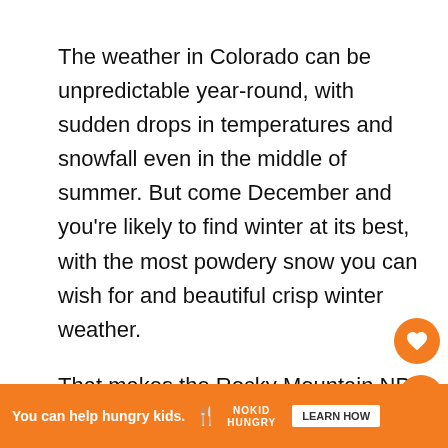The weather in Colorado can be unpredictable year-round, with sudden drops in temperatures and snowfall even in the middle of summer. But come December and you're likely to find winter at its best, with the most powdery snow you can wish for and beautiful crisp winter weather.
That makes the Rocky Mountain NP the perfect place for those looking for a white Christmas in combination with winter sports. The average temperatures in Estes park in December are between 18 and 35°F (-8 to 2°C). But the good thing about Colorado winter is that the air is so dry that you don't really experience that bone-chilling kind of cold.
[Figure (other): Orange circular heart (favorite) button overlaid on the page content]
[Figure (other): Orange circular share button overlaid on the page content]
[Figure (other): Advertisement banner: orange background with 'You can help hungry kids.' text, No Kid Hungry logo, and LEARN HOW button]